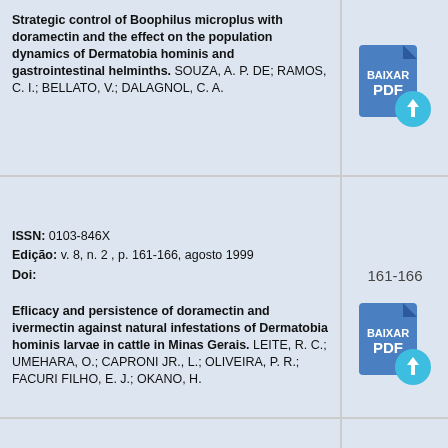Strategic control of Boophilus microplus with doramectin and the effect on the population dynamics of Dermatobia hominis and gastrointestinal helminths. SOUZA, A. P. DE; RAMOS, C. I.; BELLATO, V.; DALAGNOL, C. A.
[Figure (other): BAIXAR PDF download button icon (blue document with download arrow)]
ISSN: 0103-846X
Edição: v. 8, n. 2 , p. 161-166, agosto 1999
Doi:
161-166
Eflicacy and persistence of doramectin and ivermectin against natural infestations of Dermatobia hominis larvae in cattle in Minas Gerais. LEITE, R. C.; UMEHARA, O.; CAPRONI JR., L.; OLIVEIRA, P. R.; FACURI FILHO, E. J.; OKANO, H.
[Figure (other): BAIXAR PDF download button icon (blue document with download arrow)]